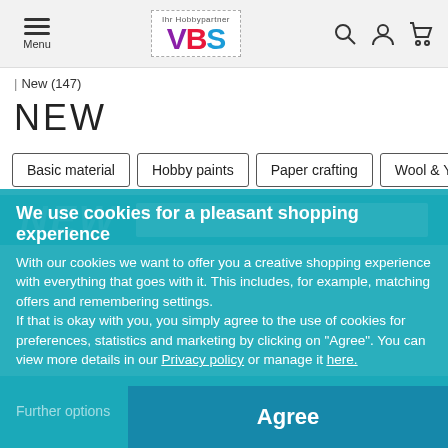[Figure (logo): VBS Hobby Partner logo with dashed border, purple V, red B, blue S]
Menu | VBS Ihr Hobbypartner | Search | Account | Cart
| New (147)
NEW
Basic material
Hobby paints
Paper crafting
Wool & Yarn
[Figure (screenshot): Teal banner with NEW text and white box]
We use cookies for a pleasant shopping experience
With our cookies we want to offer you a creative shopping experience with everything that goes with it. This includes, for example, matching offers and remembering settings.
If that is okay with you, you simply agree to the use of cookies for preferences, statistics and marketing by clicking on "Agree". You can view more details in our Privacy policy or manage it here.
Further options
Agree